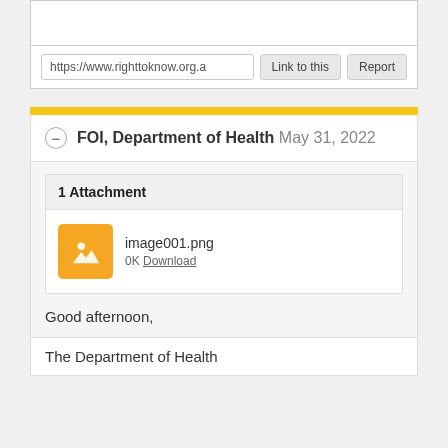[Figure (screenshot): White box area at top of page]
https://www.righttoknow.org.a
Link to this
Report
FOI, Department of Health May 31, 2022
1 Attachment
image001.png
0K Download
Good afternoon,
The Department of Health